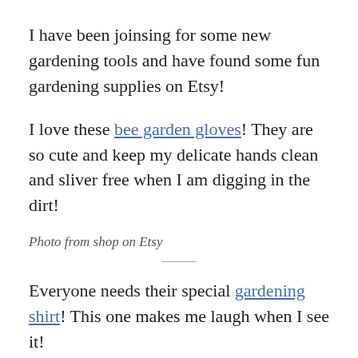I have been joinsing for some new gardening tools and have found some fun gardening supplies on Etsy!
I love these bee garden gloves! They are so cute and keep my delicate hands clean and sliver free when I am digging in the dirt!
Photo from shop on Etsy
Everyone needs their special gardening shirt! This one makes me laugh when I see it!